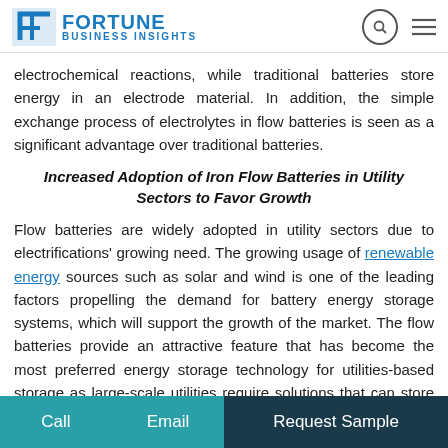Fortune Business Insights
electrochemical reactions, while traditional batteries store energy in an electrode material. In addition, the simple exchange process of electrolytes in flow batteries is seen as a significant advantage over traditional batteries.
Increased Adoption of Iron Flow Batteries in Utility Sectors to Favor Growth
Flow batteries are widely adopted in utility sectors due to electrifications' growing need. The growing usage of renewable energy sources such as solar and wind is one of the leading factors propelling the demand for battery energy storage systems, which will support the growth of the market. The flow batteries provide an attractive feature that has become the most preferred energy storage technology for utilities-based storage as large-scale utilities require solutions that can store renewable energy for future grid use at any location in a cost-effective manner.
Call   Email   Request Sample